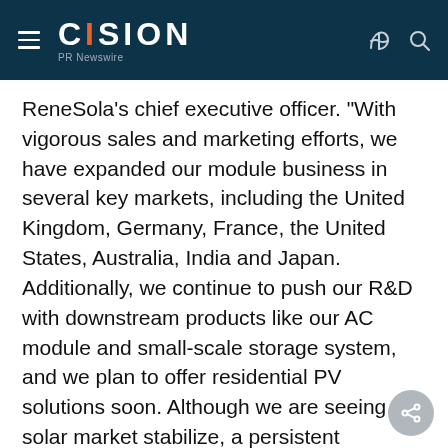CISION PR Newswire
ReneSola's chief executive officer. "With vigorous sales and marketing efforts, we have expanded our module business in several key markets, including the United Kingdom, Germany, France, the United States, Australia, India and Japan. Additionally, we continue to push our R&D with downstream products like our AC module and small-scale storage system, and we plan to offer residential PV solutions soon. Although we are seeing the solar market stabilize, a persistent demand-supply imbalance, coupled with competitive pricing, continues to impact our business and the overall industry. Despite this challenging macro environment, we will continue to invest in